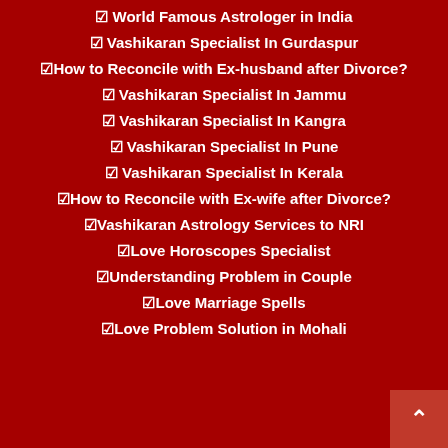☑ World Famous Astrologer in India
☑ Vashikaran Specialist In Gurdaspur
☑How to Reconcile with Ex-husband after Divorce?
☑ Vashikaran Specialist In Jammu
☑ Vashikaran Specialist In Kangra
☑ Vashikaran Specialist In Pune
☑ Vashikaran Specialist In Kerala
☑How to Reconcile with Ex-wife after Divorce?
☑Vashikaran Astrology Services to NRI
☑Love Horoscopes Specialist
☑Understanding Problem in Couple
☑Love Marriage Spells
☑Love Problem Solution in Mohali